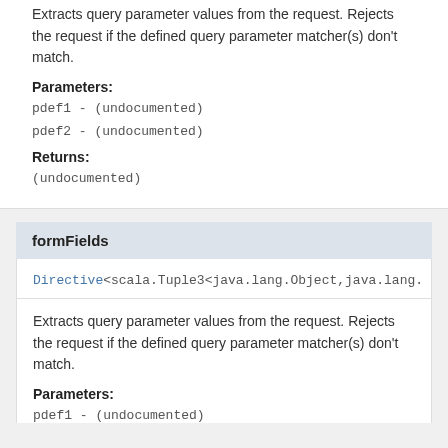Extracts query parameter values from the request. Rejects the request if the defined query parameter matcher(s) don't match.
Parameters:
pdef1 - (undocumented)
pdef2 - (undocumented)
Returns:
(undocumented)
formFields
Directive<scala.Tuple3<java.lang.Object,java.lang.…
Extracts query parameter values from the request. Rejects the request if the defined query parameter matcher(s) don't match.
Parameters:
pdef1 - (undocumented)